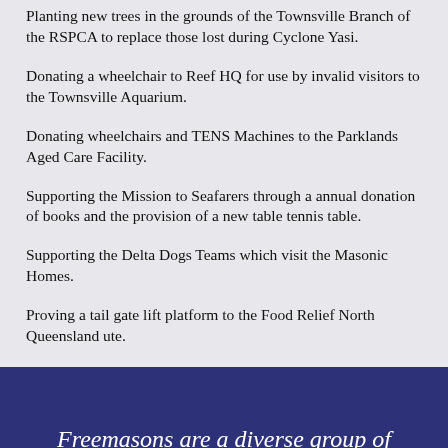Planting new trees in the grounds of the Townsville Branch of the RSPCA to replace those lost during Cyclone Yasi.
Donating a wheelchair to Reef HQ for use by invalid visitors to the Townsville Aquarium.
Donating wheelchairs and TENS Machines to the Parklands Aged Care Facility.
Supporting the Mission to Seafarers through a annual donation of books and the provision of a new table tennis table.
Supporting the Delta Dogs Teams which visit the Masonic Homes.
Proving a tail gate lift platform to the Food Relief North Queensland ute.
Freemasons are a diverse group of men from all walks of life, from